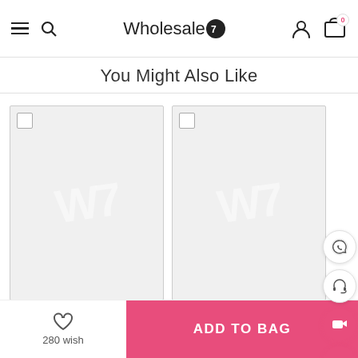Wholesale7 — navigation header with menu, search, logo, user and cart icons
You Might Also Like
[Figure (screenshot): Two product placeholder cards with W7 watermark logo and checkbox corners, displayed in a product recommendation grid]
280 wish | ADD TO BAG